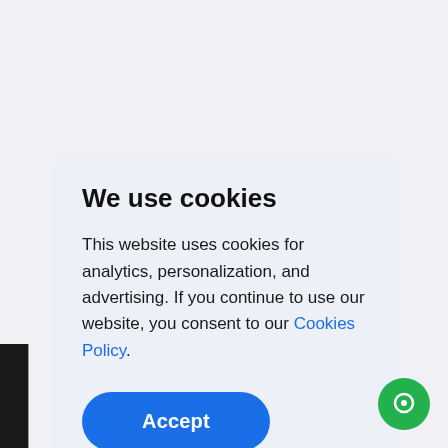[Figure (screenshot): Cookie consent dialog overlay on a website. The dialog has a light blue-gray background with rounded corners. It contains a bold title 'We use cookies', body text about cookie usage, a 'Cookies Policy' hyperlink, and a blue 'Accept' button. Behind the dialog, partial letters 'L', 'E', '1' and the text 'Management System' are visible. A green chat bubble icon appears in the bottom right corner.]